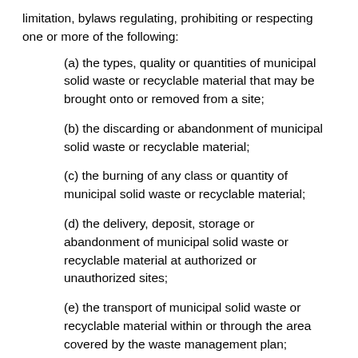limitation, bylaws regulating, prohibiting or respecting one or more of the following:
(a) the types, quality or quantities of municipal solid waste or recyclable material that may be brought onto or removed from a site;
(b) the discarding or abandonment of municipal solid waste or recyclable material;
(c) the burning of any class or quantity of municipal solid waste or recyclable material;
(d) the delivery, deposit, storage or abandonment of municipal solid waste or recyclable material at authorized or unauthorized sites;
(e) the transport of municipal solid waste or recyclable material within or through the area covered by the waste management plan;
(f) the operation, closure or post-closure of sites, including requirements for